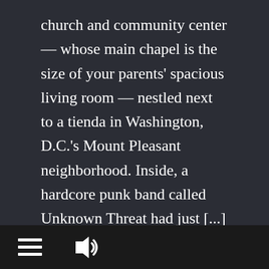church and community center — whose main chapel is the size of your parents' spacious living room — nestled next to a tienda in Washington, D.C.'s Mount Pleasant neighborhood. Inside, a hardcore punk band called Unknown Threat had just [...]
Read More
hamburger menu icon | audio icon